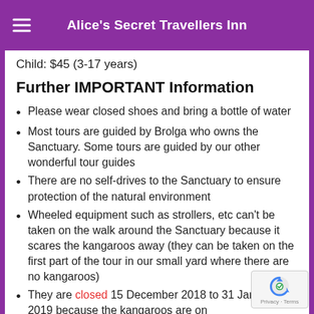Alice's Secret Travellers Inn
Child: $45 (3-17 years)
Further IMPORTANT Information
Please wear closed shoes and bring a bottle of water
Most tours are guided by Brolga who owns the Sanctuary. Some tours are guided by our other wonderful tour guides
There are no self-drives to the Sanctuary to ensure protection of the natural environment
Wheeled equipment such as strollers, etc can't be taken on the walk around the Sanctuary because it scares the kangaroos away (they can be taken on the first part of the tour in our small yard where there are no kangaroos)
They are closed 15 December 2018 to 31 January 2019 because the kangaroos are on